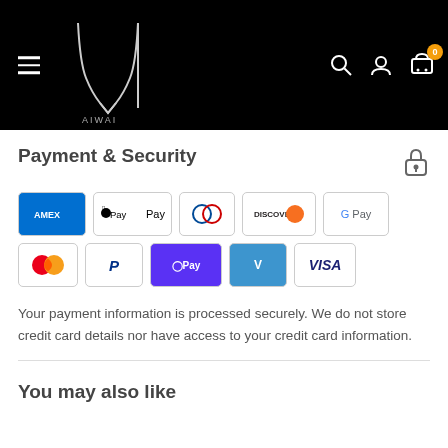[Figure (logo): WAIIWAI brand logo — stylized W with text 'WAIIWAI' on black navigation header bar with hamburger menu, search, account, and cart icons]
Payment & Security
[Figure (infographic): Row of payment method badges: Amex, Apple Pay, Diners Club, Discover, Google Pay, Mastercard, PayPal, Shop Pay, Venmo, Visa]
Your payment information is processed securely. We do not store credit card details nor have access to your credit card information.
You may also like